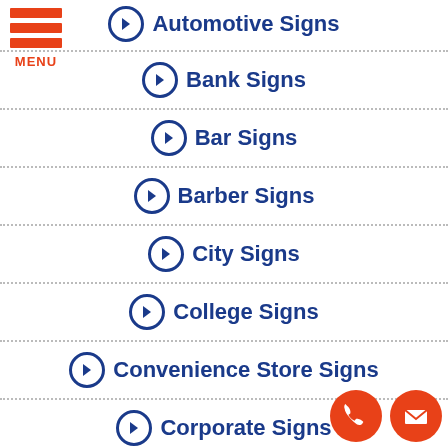[Figure (infographic): Red hamburger menu icon with three horizontal bars and MENU text below]
Automotive Signs
Bank Signs
Bar Signs
Barber Signs
City Signs
College Signs
Convenience Store Signs
Corporate Signs
Dealership Signs
[Figure (infographic): Two circular contact icons in red-orange: a phone handset icon and an envelope/mail icon]